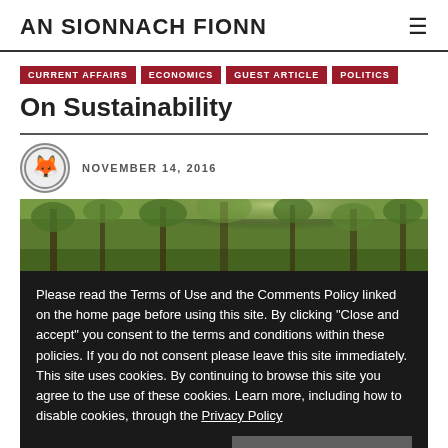AN SIONNACH FIONN
CURRENT AFFAIRS
ECONOMICS
GUEST ARTICLE
POLITICS
On Sustainability
NOVEMBER 14, 2016
[Figure (photo): Forest scene with sunlight filtering through trees]
Please read the Terms of Use and the Comments Policy linked on the home page before using this site. By clicking "Close and accept" you consent to the terms and conditions within these policies. If you do not consent please leave this site immediately. This site uses cookies. By continuing to browse this site you agree to the use of these cookies. Learn more, including how to disable cookies, through the Privacy Policy
Close and accept
A guest post by Déaghán Ó Céitinn examining